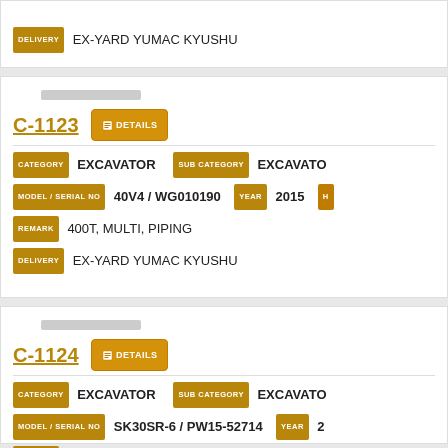DELIVERY  EX-YARD YUMAC KYUSHU
C-1123
DETAILS
CATEGORY  EXCAVATOR   SUB CATEGORY  EXCAVATOR
MODEL / SERIAL NO  40V4 / WG010190   YEAR  2015
REMARK  400T, MULTI, PIPING
DELIVERY  EX-YARD YUMAC KYUSHU
C-1124
DETAILS
CATEGORY  EXCAVATOR   SUB CATEGORY  EXCAVATOR
MODEL / SERIAL NO  SK30SR-6 / PW15-52714   YEAR  2
REMARK  300R, MULTI, ARM CRANE